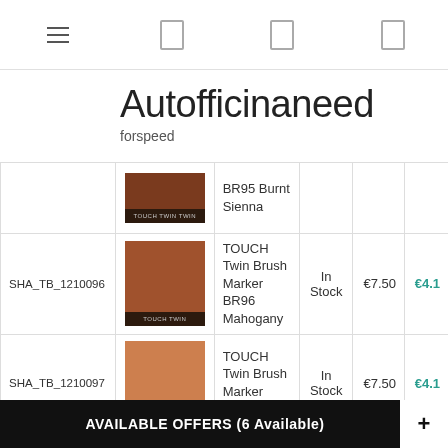Navigation bar with hamburger menu and icons
Autofficinaneed
forspeed
| SKU | Image | Product Name | Stock | Price | Sale Price |
| --- | --- | --- | --- | --- | --- |
|  |  | BR95 Burnt Sienna |  |  |  |
| SHA_TB_1210096 | [image] | TOUCH Twin Brush Marker BR96 Mahogany | In Stock | €7.50 | €4.1 |
| SHA_TB_1210097 | [image] | TOUCH Twin Brush Marker BR97 Rose | In Stock | €7.50 | €4.1 |
AVAILABLE OFFERS (6 Available)